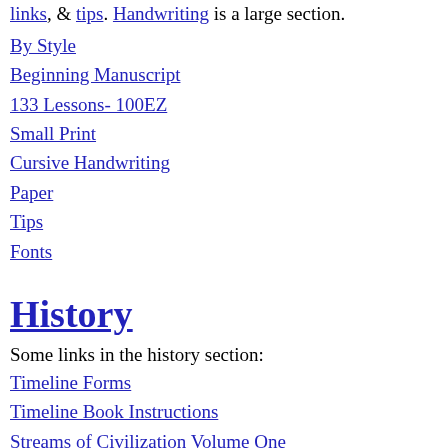links, & tips. Handwriting is a large section.
By Style
Beginning Manuscript
133 Lessons- 100EZ
Small Print
Cursive Handwriting
Paper
Tips
Fonts
History
Some links in the history section:
Timeline Forms
Timeline Book Instructions
Streams of Civilization Volume One
Maps for School Children
Chicken Mummy
A Child's History of the World Schedule & Book Suggestions